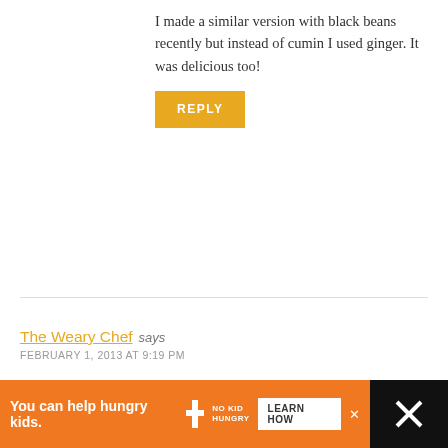I made a similar version with black beans recently but instead of cumin I used ginger. It was delicious too!
REPLY
The Weary Chef says
FEBRUARY 1, 2013 AT 9:19 PM
I feel you on not being that into football. In fact, I actively don’t like sports. However, I DO like party foods, so I’m loving all the snack and appetizer recipes coming out lately, including this one. Thanks for sharing it!
REPLY
You can help hungry kids. NO KID HUNGRY LEARN HOW